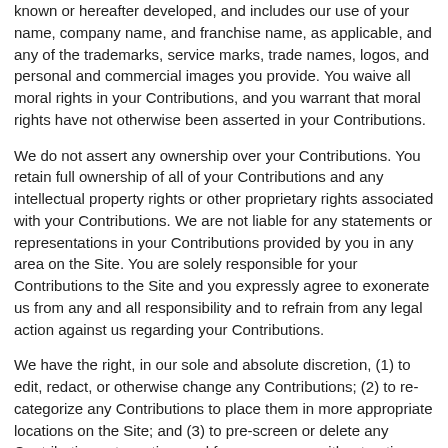known or hereafter developed, and includes our use of your name, company name, and franchise name, as applicable, and any of the trademarks, service marks, trade names, logos, and personal and commercial images you provide. You waive all moral rights in your Contributions, and you warrant that moral rights have not otherwise been asserted in your Contributions.
We do not assert any ownership over your Contributions. You retain full ownership of all of your Contributions and any intellectual property rights or other proprietary rights associated with your Contributions. We are not liable for any statements or representations in your Contributions provided by you in any area on the Site. You are solely responsible for your Contributions to the Site and you expressly agree to exonerate us from any and all responsibility and to refrain from any legal action against us regarding your Contributions.
We have the right, in our sole and absolute discretion, (1) to edit, redact, or otherwise change any Contributions; (2) to re-categorize any Contributions to place them in more appropriate locations on the Site; and (3) to pre-screen or delete any Contributions at any time and for any reason, without notice. We have no obligation to monitor your Contributions.